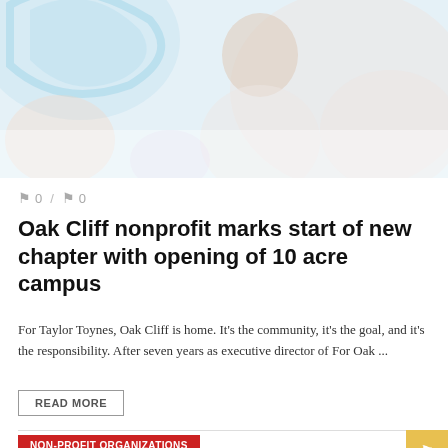[Figure (photo): Faded/washed-out photo of a person (child or young adult) with colorful background shapes, very light pastel tones]
0  /  0
Oak Cliff nonprofit marks start of new chapter with opening of 10 acre campus
For Taylor Toynes, Oak Cliff is home. It's the community, it's the goal, and it's the responsibility. After seven years as executive director of For Oak ...
READ MORE
NON-PROFIT ORGANIZATIONS